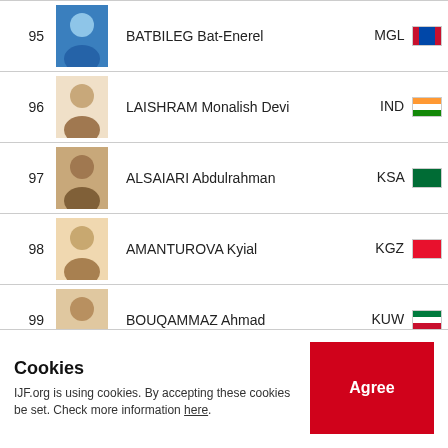| Rank | Photo | Name | Country |
| --- | --- | --- | --- |
| 95 |  | BATBILEG Bat-Enerel | MGL |
| 96 |  | LAISHRAM Monalish Devi | IND |
| 97 |  | ALSAIARI Abdulrahman | KSA |
| 98 |  | AMANTUROVA Kyial | KGZ |
| 99 |  | BOUQAMMAZ Ahmad | KUW |
| 100 |  | PULATOV Mukhammadali | UZB |
Cookies
IJF.org is using cookies. By accepting these cookies be set. Check more information here.